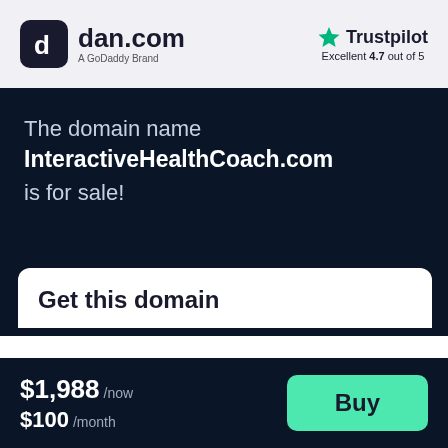[Figure (logo): dan.com logo - dark rounded square with stylized 'd' icon, text 'dan.com' and 'A GoDaddy Brand' below]
[Figure (logo): Trustpilot logo with green star, text 'Trustpilot', and 'Excellent 4.7 out of 5' below]
The domain name
InteractiveHealthCoach.com
is for sale!
Get this domain
$1,988 /now
$100 /month
Buy